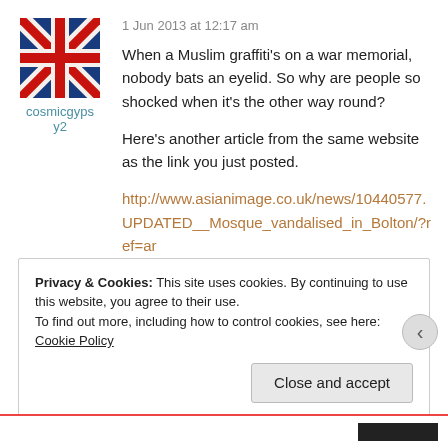1 Jun 2013 at 12:17 am
[Figure (illustration): Union Jack (UK flag) avatar image with red cross and blue/white background, slightly stylized/grunge effect]
cosmicgypsy2
When a Muslim graffiti's on a war memorial, nobody bats an eyelid. So why are people so shocked when it's the other way round?
Here's another article from the same website as the link you just posted.
http://www.asianimage.co.uk/news/10440577.UPDATED__Mosque_vandalised_in_Bolton/?ref=ar
Privacy & Cookies: This site uses cookies. By continuing to use this website, you agree to their use. To find out more, including how to control cookies, see here: Cookie Policy
Close and accept